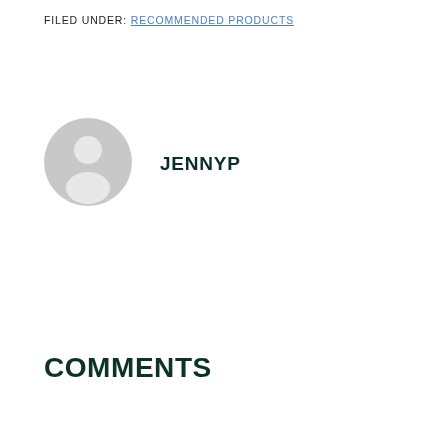FILED UNDER: RECOMMENDED PRODUCTS
[Figure (illustration): Generic user avatar icon: gray circle with silhouette of a person (head and shoulders)]
JENNYP
COMMENTS